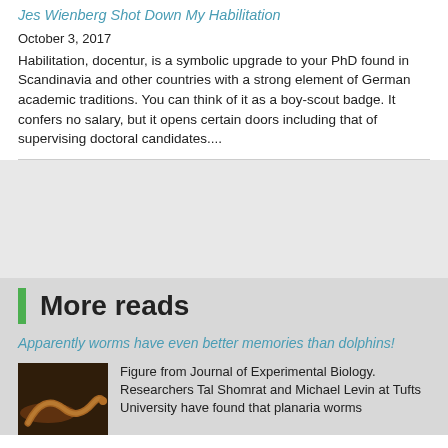Jes Wienberg Shot Down My Habilitation
October 3, 2017
Habilitation, docentur, is a symbolic upgrade to your PhD found in Scandinavia and other countries with a strong element of German academic traditions. You can think of it as a boy-scout badge. It confers no salary, but it opens certain doors including that of supervising doctoral candidates....
More reads
Apparently worms have even better memories than dolphins!
[Figure (photo): Photo of a worm (planaria) against a dark background with orange/yellow coloring]
Figure from Journal of Experimental Biology. Researchers Tal Shomrat and Michael Levin at Tufts University have found that planaria worms